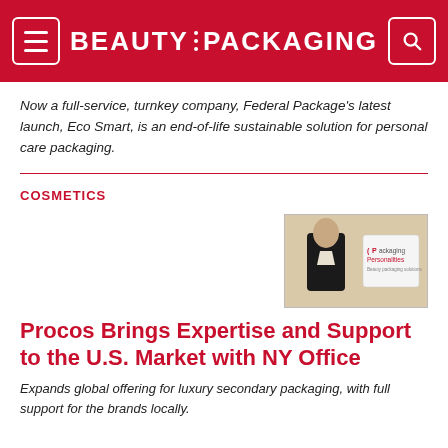BEAUTY PACKAGING
Now a full-service, turnkey company, Federal Package’s latest launch, Eco Smart, is an end-of-life sustainable solution for personal care packaging.
COSMETICS
[Figure (photo): Person in dark suit with Packaging Personalities logo on right side]
Procos Brings Expertise and Support to the U.S. Market with NY Office
Expands global offering for luxury secondary packaging, with full support for the brands locally.